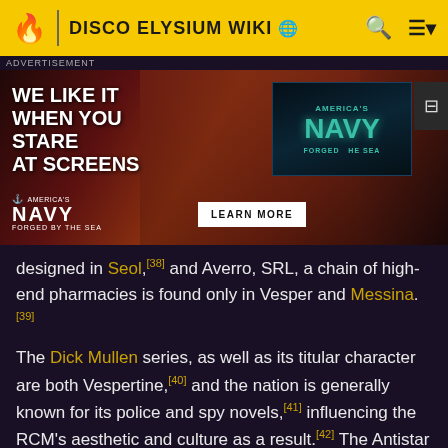DISCO ELYSIUM WIKI
[Figure (photo): US Navy advertisement with text 'WE LIKE IT WHEN YOU STARE AT SCREENS' and America's Navy Forged by the Sea branding with a Learn More button]
designed in Seol,[38] and Averro, SRL, a chain of high-end pharmacies is found only in Vesper and Messina.[39]
The Dick Mullen series, as well as its titular character are both Vespertine,[40] and the nation is generally known for its police and spy novels,[41] influencing the RCM's aesthetic and culture as a result.[42] The Antistar was a Vespertine rock star famous for shooting morphine into one eyeball, and cocaine into the other.[43] He would later die as a result of his drug use.[44]